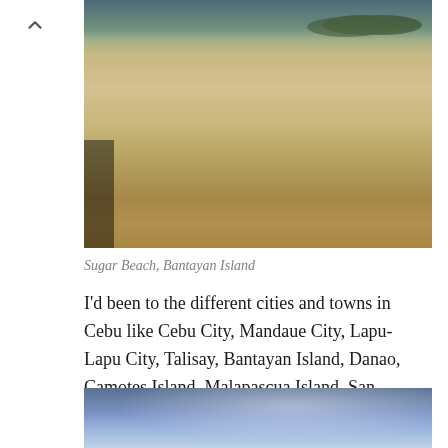[Figure (photo): Sandy beach with calm shoreline and trees in the background — Sugar Beach, Bantayan Island]
Sugar Beach, Bantayan Island
I'd been to the different cities and towns in Cebu like Cebu City, Mandaue City, Lapu-Lapu City, Talisay, Bantayan Island, Danao, Camotes Island, Malapascua Island, San Remigio, Daanbantayan, Carmen, Oslob and Samboan and the most recent is Moalboal.
[Figure (photo): Ocean/underwater scene with blue water and light rays]